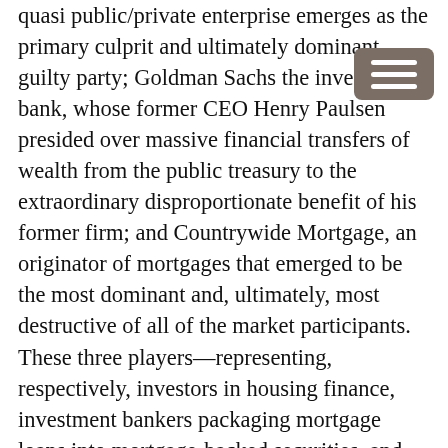quasi public/private enterprise emerges as the primary culprit and ultimately dominant guilty party; Goldman Sachs the investment bank, whose former CEO Henry Paulsen presided over massive financial transfers of wealth from the public treasury to the extraordinary disproportionate benefit of his former firm; and Countrywide Mortgage, an originator of mortgages that emerged to be the most dominant and, ultimately, most destructive of all of the market participants. These three players—representing, respectively, investors in housing finance, investment bankers packaging mortgage loans into mortgage-backed securities, and mortgage originators were joined by Washington policymakers, and borrowers—all five parties unwittingly and unconsciously pursuing system destructive actions, that combined to cause the defiling and near destruction of the financial commons. The wrongdoings that are the subject of this searching study were made possible and ultimately aided and abetted by